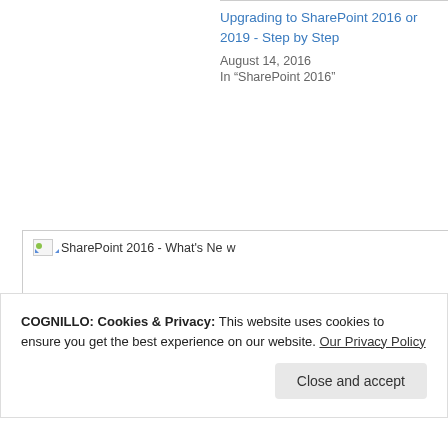Upgrading to SharePoint 2016 or 2019 - Step by Step
August 14, 2016
In “SharePoint 2016”
[Figure (screenshot): Broken image placeholder showing 'SharePoint 2016 - What's New' with a broken image icon]
COGNILLO: Cookies & Privacy: This website uses cookies to ensure you get the best experience on our website. Our Privacy Policy
Close and accept